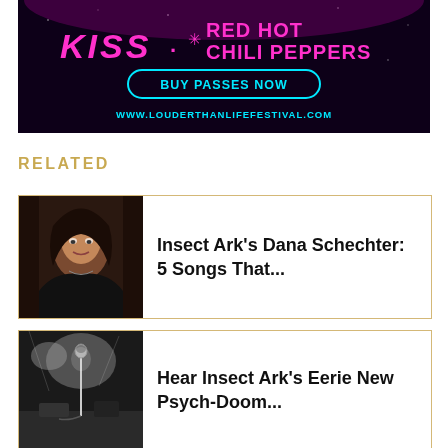[Figure (photo): Concert festival advertisement banner for Louder Than Life Festival featuring KISS and Red Hot Chili Peppers on dark purple/black background with Buy Passes Now button and website URL]
RELATED
[Figure (photo): Portrait photo of Dana Schechter with dark curly hair against dark background]
Insect Ark's Dana Schechter: 5 Songs That...
[Figure (photo): Black and white photo of a performance stage with lighting equipment and microphone stand]
Hear Insect Ark's Eerie New Psych-Doom...